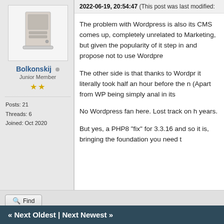2022-06-19, 20:54:47 (This post was last modified:
[Figure (photo): Computer tower/desktop PC image used as forum avatar]
Bolkonskij
Junior Member
★★
Posts: 21
Threads: 6
Joined: Oct 2020
The problem with Wordpress is also its CMS comes up, completely unrelated to Marketing, but given the popularity of it step in and propose not to use Wordpre...
The other side is that thanks to Wordpre... it literally took half an hour before the n... (Apart from WP being simply anal in its...
No Wordpress fan here. Lost track on h... years.
But yes, a PHP8 "fix" for 3.3.16 and so... it is, bringing the foundation you need t...
« Next Oldest | Next Newest »